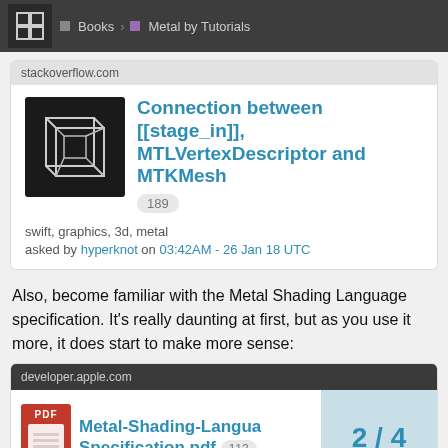Books · Metal by Tutorials
[Figure (screenshot): Stack Overflow question card: 'Connection between [[stage_in]], MTLVertexDescriptor and MTKMesh' with 189 votes, tags: swift, graphics, 3d, metal, asked by hyperknot on 03:42AM - 26 Jan 18 UTC]
Also, become familiar with the Metal Shading Language specification. It's really daunting at first, but as you use it more, it does start to make more sense:
[Figure (screenshot): Apple developer.apple.com card for Metal-Shading-Language-Specification.pdf with 113 votes, showing page 2/4]